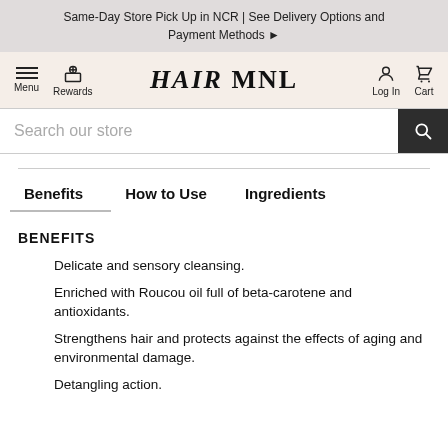Same-Day Store Pick Up in NCR | See Delivery Options and Payment Methods ▶
[Figure (screenshot): HairMNL website navigation bar with Menu, Rewards, HAIR MNL logo, Log In, and Cart icons]
Search our store
Benefits | How to Use | Ingredients
BENEFITS
Delicate and sensory cleansing.
Enriched with Roucou oil full of beta-carotene and antioxidants.
Strengthens hair and protects against the effects of aging and environmental damage.
Detangling action.